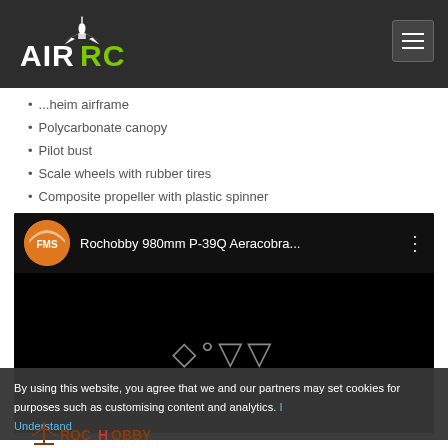AIRRC
...heim airframe
Polycarbonate canopy
Pilot bust
Scale wheels with rubber tires
Composite propeller with plastic spinner
[Figure (screenshot): Embedded YouTube video player showing 'Rochobby 980mm P-39Q Aeracobra...' with FMS channel logo, dark background, and play symbol in center]
By using this website, you agree that we and our partners may set cookies for purposes such as customising content and analytics. I Understand
[Figure (logo): Rochobby brand logo at bottom left]